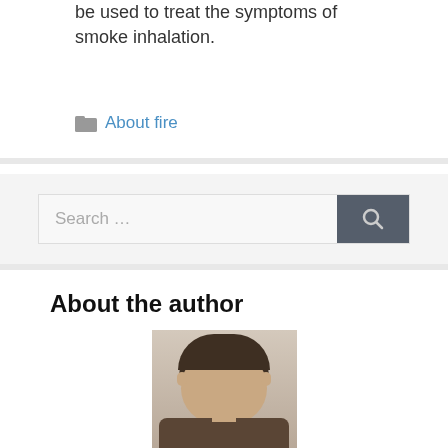be used to treat the symptoms of smoke inhalation.
About fire
[Figure (screenshot): Search bar with text 'Search ...' and a dark grey search button with magnifying glass icon]
About the author
[Figure (photo): Headshot photo of a young man with short dark hair, looking at the camera]